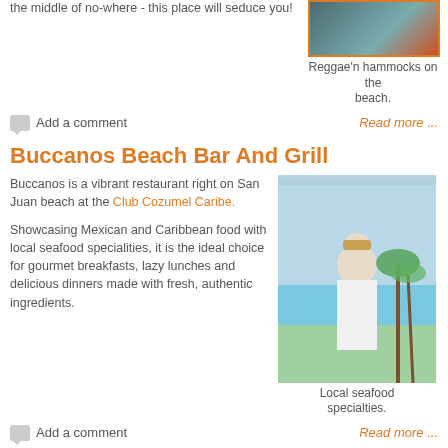the middle of no-where - this place will seduce you!
[Figure (photo): Reggae'n hammocks on the beach - colorful scene]
Reggae'n hammocks on the beach.
Add a comment
Read more ...
Buccanos Beach Bar And Grill
Buccanos is a vibrant restaurant right on San Juan beach at the Club Cozumel Caribe.
Showcasing Mexican and Caribbean food with local seafood specialities, it is the ideal choice for gourmet breakfasts, lazy lunches and delicious dinners made with fresh, authentic ingredients.
[Figure (photo): Man holding a seafood platter by a pool with palm trees]
Local seafood specialties.
Add a comment
Read more ...
Mr Sanchos Beach and Restaurant
[Figure (photo): Beach restaurant exterior view]